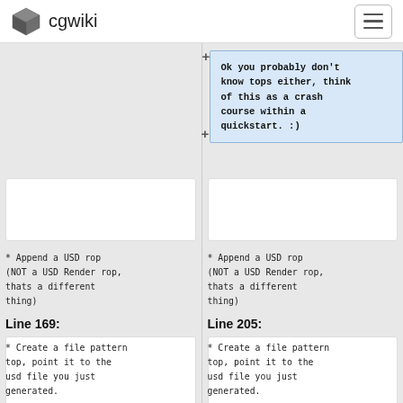cgwiki
Ok you probably don't know tops either, think of this as a crash course within a quickstart. :)
* Append a USD rop (NOT a USD Render rop, thats a different thing)
* Append a USD rop (NOT a USD Render rop, thats a different thing)
Line 169:
Line 205:
* Create a file pattern top, point it to the usd file you just generated.
* Create a file pattern top, point it to the usd file you just generated.